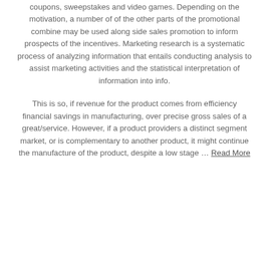coupons, sweepstakes and video games. Depending on the motivation, a number of of the other parts of the promotional combine may be used along side sales promotion to inform prospects of the incentives. Marketing research is a systematic process of analyzing information that entails conducting analysis to assist marketing activities and the statistical interpretation of information into info.
This is so, if revenue for the product comes from efficiency financial savings in manufacturing, over precise gross sales of a great/service. However, if a product providers a distinct segment market, or is complementary to another product, it might continue the manufacture of the product, despite a low stage … Read More